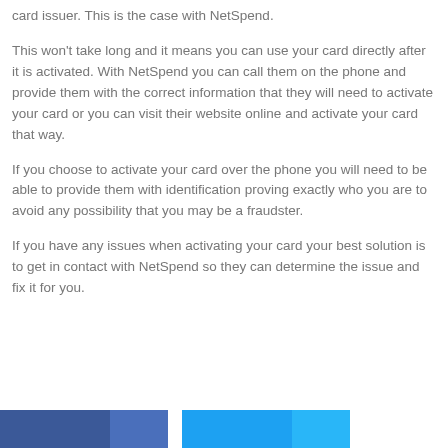card issuer. This is the case with NetSpend.
This won't take long and it means you can use your card directly after it is activated. With NetSpend you can call them on the phone and provide them with the correct information that they will need to activate your card or you can visit their website online and activate your card that way.
If you choose to activate your card over the phone you will need to be able to provide them with identification proving exactly who you are to avoid any possibility that you may be a fraudster.
If you have any issues when activating your card your best solution is to get in contact with NetSpend so they can determine the issue and fix it for you.
[Figure (other): Social sharing buttons row at the bottom: Facebook button (blue) with share count (lighter blue), Twitter button (cyan) with share count (lighter cyan)]